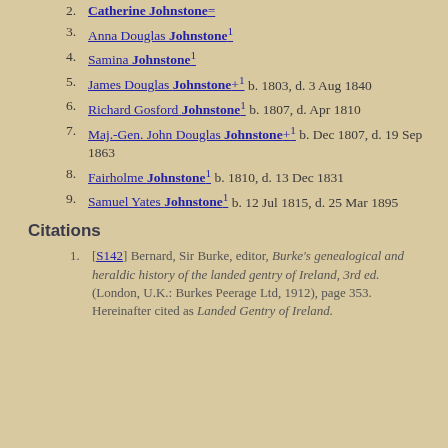2. Catherine Johnstone=
3. Anna Douglas Johnstone¹
4. Samina Johnstone¹
5. James Douglas Johnstone+¹ b. 1803, d. 3 Aug 1840
6. Richard Gosford Johnstone¹ b. 1807, d. Apr 1810
7. Maj.-Gen. John Douglas Johnstone+¹ b. Dec 1807, d. 19 Sep 1863
8. Fairholme Johnstone¹ b. 1810, d. 13 Dec 1831
9. Samuel Yates Johnstone¹ b. 12 Jul 1815, d. 25 Mar 1895
Citations
[S142] Bernard, Sir Burke, editor, Burke's genealogical and heraldic history of the landed gentry of Ireland, 3rd ed. (London, U.K.: Burkes Peerage Ltd, 1912), page 353. Hereinafter cited as Landed Gentry of Ireland.